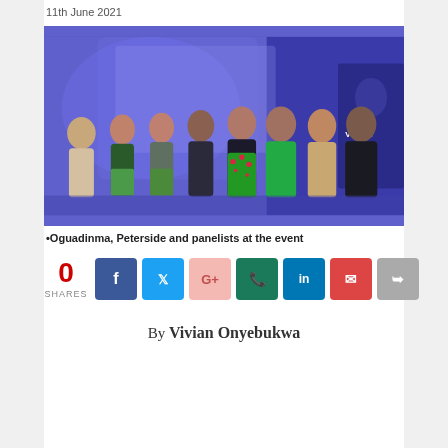11th June 2021
[Figure (photo): Group photo of Oguadinma, Peterside and panelists at an event, standing in front of a blue-lit backdrop with a poster visible on the right side.]
•Oguadinma, Peterside and panelists at the event
0 SHARES
By Vivian Onyebukwa